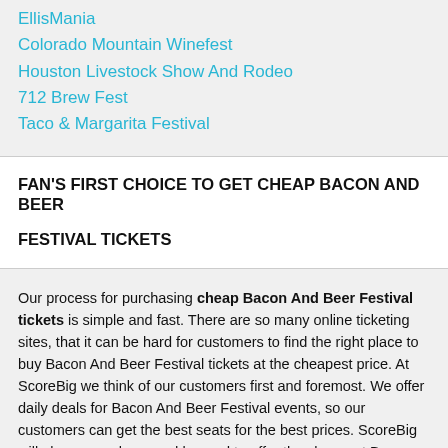EllisMania
Colorado Mountain Winefest
Houston Livestock Show And Rodeo
712 Brew Fest
Taco & Margarita Festival
FAN'S FIRST CHOICE TO GET CHEAP BACON AND BEER FESTIVAL TICKETS
Our process for purchasing cheap Bacon And Beer Festival tickets is simple and fast. There are so many online ticketing sites, that it can be hard for customers to find the right place to buy Bacon And Beer Festival tickets at the cheapest price. At ScoreBig we think of our customers first and foremost. We offer daily deals for Bacon And Beer Festival events, so our customers can get the best seats for the best prices. ScoreBig will always go above and beyond to offer the cheapest Bacon And Beer Festival tickets on the market.
The Bacon And Beer Festival schedule above, displays all